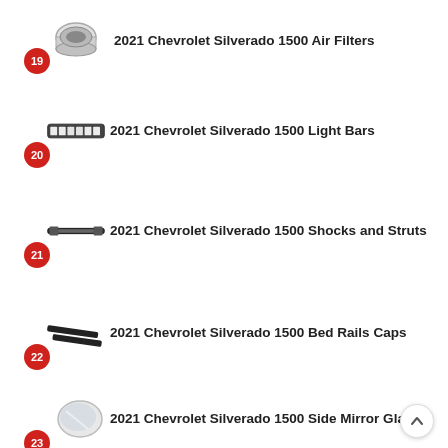19 2021 Chevrolet Silverado 1500 Air Filters
20 2021 Chevrolet Silverado 1500 Light Bars
21 2021 Chevrolet Silverado 1500 Shocks and Struts
22 2021 Chevrolet Silverado 1500 Bed Rails Caps
23 2021 Chevrolet Silverado 1500 Side Mirror Glass